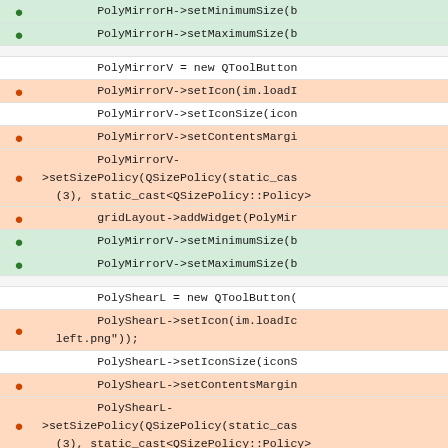[Figure (screenshot): Code diff view showing C++ Qt code differences for PolyMirrorH, PolyMirrorV, and PolyShearL widget setup functions, with added lines (green, plus marker) and removed lines (orange/red, minus marker).]